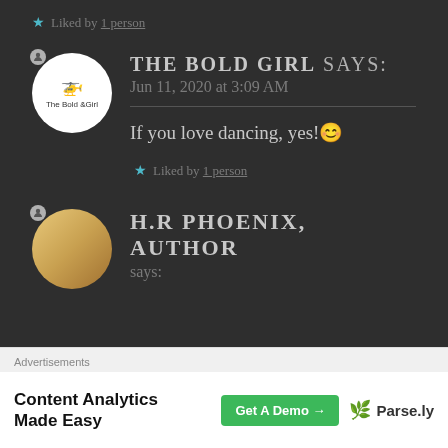★ Liked by 1 person
THE BOLD GIRL says: Jun 11, 2020 at 3:09 AM
If you love dancing, yes!😊
★ Liked by 1 person
H.R PHOENIX, AUTHOR says:
Advertisements
Content Analytics Made Easy Get A Demo → Parse.ly